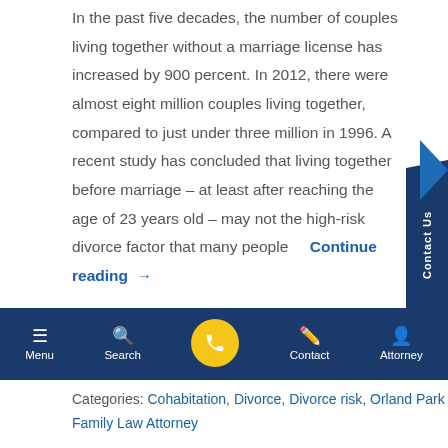In the past five decades, the number of couples living together without a marriage license has increased by 900 percent. In 2012, there were almost eight million couples living together, compared to just under three million in 1996. A recent study has concluded that living together before marriage – at least after reaching the age of 23 years old – may not the high-risk divorce factor that many people Continue reading →
Menu | Search | Contact | Attorney
Categories: Cohabitation, Divorce, Divorce risk, Orland Park Family Law Attorney